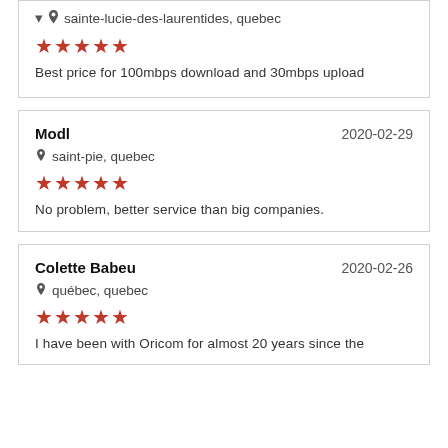sainte-lucie-des-laurentides, quebec
★★★★★
Best price for 100mbps download and 30mbps upload
Modl
2020-02-29
saint-pie, quebec
★★★★★
No problem, better service than big companies.
Colette Babeu
2020-02-26
québec, quebec
★★★★★
I have been with Oricom for almost 20 years since the